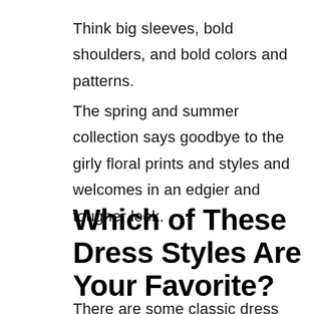Think big sleeves, bold shoulders, and bold colors and patterns.
The spring and summer collection says goodbye to the girly floral prints and styles and welcomes in an edgier and tougher look.
Which of These Dress Styles Are Your Favorite?
There are some classic dress styles that are still in fashion this year.